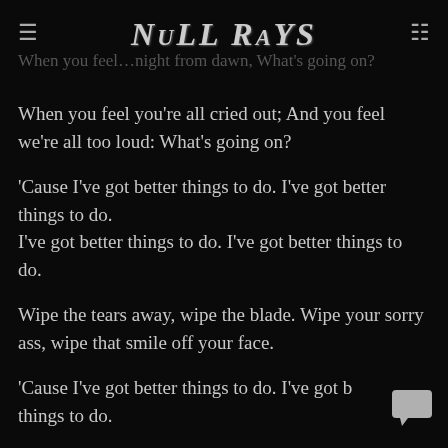NULL RAYS
When you feel you're all cried out; And you feel we're all too loud: What's going on?
'Cause I've got better things to do. I've got better things to do.
I've got better things to do. I've got better things to do.
Wipe the tears away, wipe the blade. Wipe your sorry ass, wipe that smile off your face.
'Cause I've got better things to do. I've got better things to do.